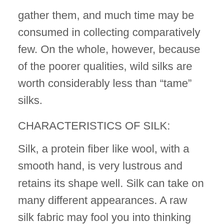gather them, and much time may be consumed in collecting comparatively few. On the whole, however, because of the poorer qualities, wild silks are worth considerably less than “tame” silks.
CHARACTERISTICS OF SILK:
Silk, a protein fiber like wool, with a smooth hand, is very lustrous and retains its shape well. Silk can take on many different appearances. A raw silk fabric may fool you into thinking that it is cotton or synthetic. The more refined the silk and the smaller the yarn, the more it